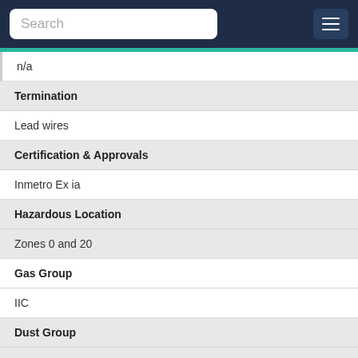Search
| n/a |
| Termination |
| Lead wires |
| Certification & Approvals |
| Inmetro Ex ia |
| Hazardous Location |
| Zones 0 and 20 |
| Gas Group |
| IIC |
| Dust Group |
| IIIC |
| Temperature Class (T Rating) |
| T6 |
| Operating Temperature |
| -20°C to +80°C / -4°F to +176°F |